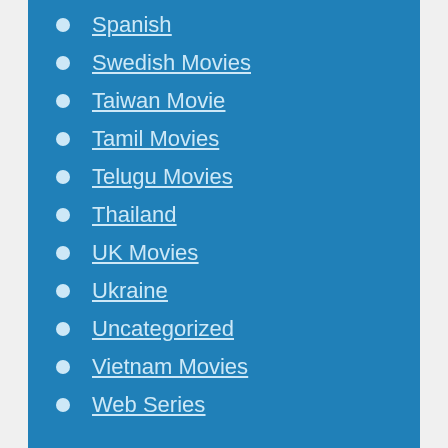Spanish
Swedish Movies
Taiwan Movie
Tamil Movies
Telugu Movies
Thailand
UK Movies
Ukraine
Uncategorized
Vietnam Movies
Web Series
Advertisements
[Figure (screenshot): WooCommerce advertisement banner: 'How to start selling subscriptions online']